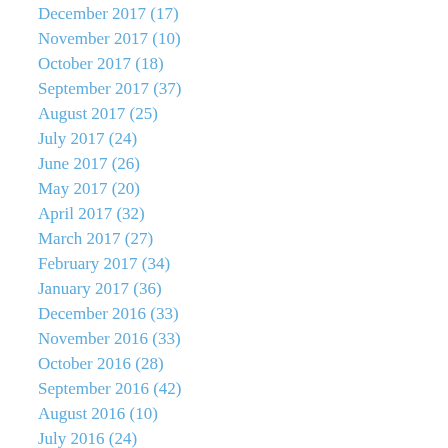December 2017 (17)
November 2017 (10)
October 2017 (18)
September 2017 (37)
August 2017 (25)
July 2017 (24)
June 2017 (26)
May 2017 (20)
April 2017 (32)
March 2017 (27)
February 2017 (34)
January 2017 (36)
December 2016 (33)
November 2016 (33)
October 2016 (28)
September 2016 (42)
August 2016 (10)
July 2016 (24)
June 2016 (20)
May 2016 (11)